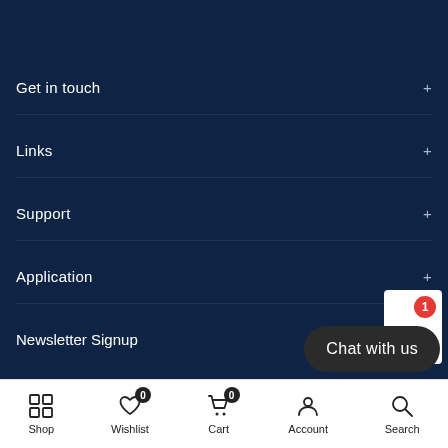Get in touch +
Links +
Support +
Application +
Newsletter Signup
[Figure (infographic): Chat with us button with notification badge showing 1]
Shop  Wishlist 0  Cart 0  Account  Search